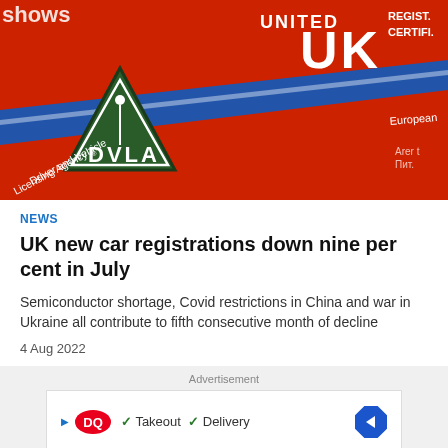[Figure (photo): Close-up photograph of a DVLA (Driver and Vehicle Licensing Agency) registration certificate card. The card is red and blue with a green triangular DVLA logo on the left side and white text reading 'UNITED UK' and 'REGISTRATION CERTIFICATE' on the right. The DVLA triangle logo contains text 'Driver and Vehicle Licensing Agency'.]
NEWS
UK new car registrations down nine per cent in July
Semiconductor shortage, Covid restrictions in China and war in Ukraine all contribute to fifth consecutive month of decline
4 Aug 2022
Advertisement
[Figure (other): Advertisement banner for Dairy Queen (DQ) showing the DQ logo, checkmarks for Takeout and Delivery services, and a blue diamond arrow icon on the right.]